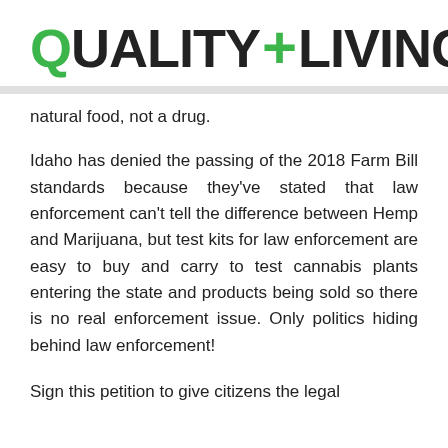QUALITY+LIVING.US
natural food, not a drug.
Idaho has denied the passing of the 2018 Farm Bill standards because they've stated that law enforcement can't tell the difference between Hemp and Marijuana, but test kits for law enforcement are easy to buy and carry to test cannabis plants entering the state and products being sold so there is no real enforcement issue. Only politics hiding behind law enforcement!
Sign this petition to give citizens the legal